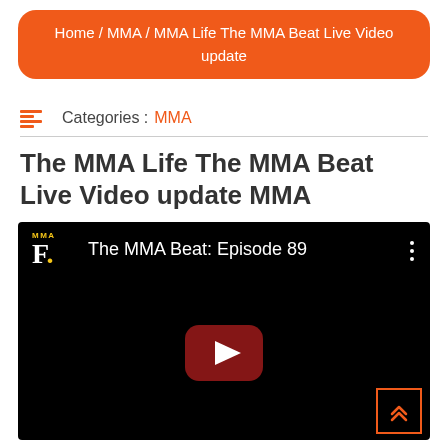Home / MMA / MMA Life The MMA Beat Live Video update
Categories : MMA
The MMA Life The MMA Beat Live Video update MMA
[Figure (screenshot): Embedded YouTube video player showing 'The MMA Beat: Episode 89' with a black background, MMA Fighting logo top left, three-dot menu top right, and a YouTube play button in the center.]